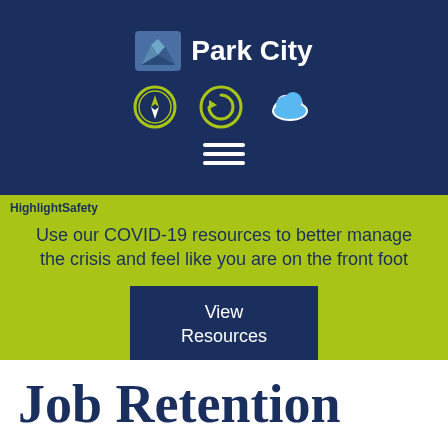[Figure (logo): Park City logo with mountain icon and navigation icons (compass, refresh, cloud) and hamburger menu on dark navy background]
HighlightSafety
Use our COVID-19 resources to better manage the crisis and feel like you are on the front foot
View Resources
Job Retention